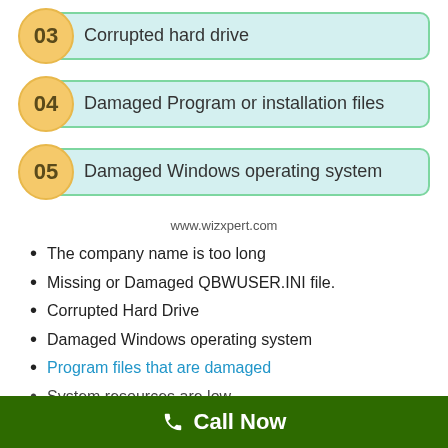03 Corrupted hard drive
04 Damaged Program or installation files
05 Damaged Windows operating system
www.wizxpert.com
The company name is too long
Missing or Damaged QBWUSER.INI file.
Corrupted Hard Drive
Damaged Windows operating system
Program files that are damaged
System resources are low
Call Now